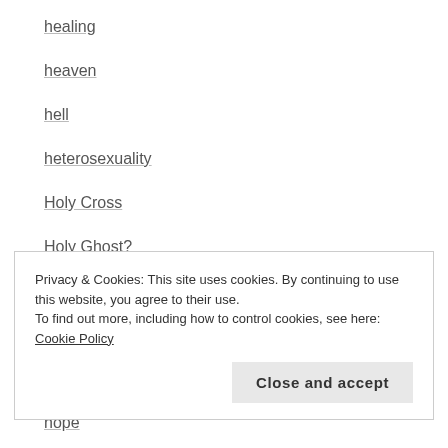healing
heaven
hell
heterosexuality
Holy Cross
Holy Ghost?
Holy Spirit
Holy Week
homosexuality
hope
Privacy & Cookies: This site uses cookies. By continuing to use this website, you agree to their use.
To find out more, including how to control cookies, see here: Cookie Policy
Close and accept